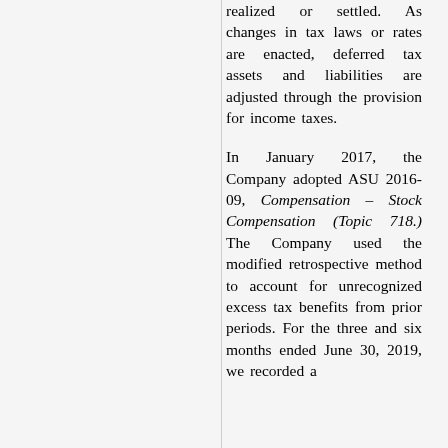realized or settled. As changes in tax laws or rates are enacted, deferred tax assets and liabilities are adjusted through the provision for income taxes.
In January 2017, the Company adopted ASU 2016-09, Compensation – Stock Compensation (Topic 718.) The Company used the modified retrospective method to account for unrecognized excess tax benefits from prior periods. For the three and six months ended June 30, 2019, we recorded a